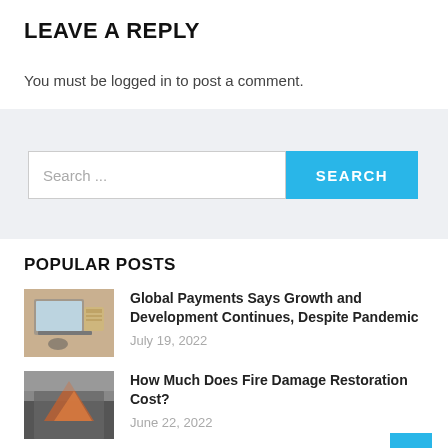LEAVE A REPLY
You must be logged in to post a comment.
[Figure (other): Search bar with text input placeholder 'Search ...' and a cyan 'SEARCH' button]
POPULAR POSTS
[Figure (photo): Thumbnail of person using laptop and calculator on a desk]
Global Payments Says Growth and Development Continues, Despite Pandemic
July 19, 2022
[Figure (photo): Thumbnail of fire damage to a building]
How Much Does Fire Damage Restoration Cost?
June 22, 2022
[Figure (photo): Thumbnail of artificial grass]
What Are the Benefits of Using Artificial Grass in